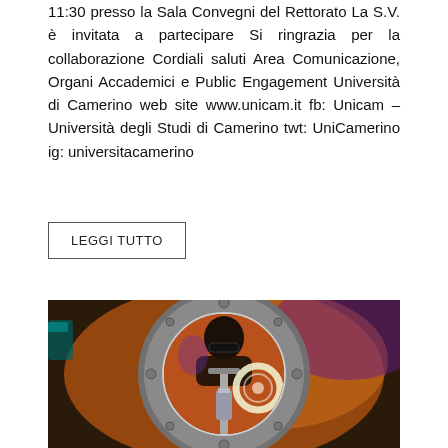11:30 presso la Sala Convegni del Rettorato La S.V. è invitata a partecipare Si ringrazia per la collaborazione Cordiali saluti Area Comunicazione, Organi Accademici e Public Engagement Università di Camerino web site www.unicam.it fb: Unicam – Università degli Studi di Camerino twt: UniCamerino ig: universitacamerino
LEGGI TUTTO
[Figure (photo): A researcher wearing dark sunglasses looks through a large circular metallic porthole or vacuum chamber opening. Inside the chamber, scientific optical equipment including a ring light and vertical mount are visible. The background is lit with warm orange and purple hues suggesting a laser or optics laboratory environment.]